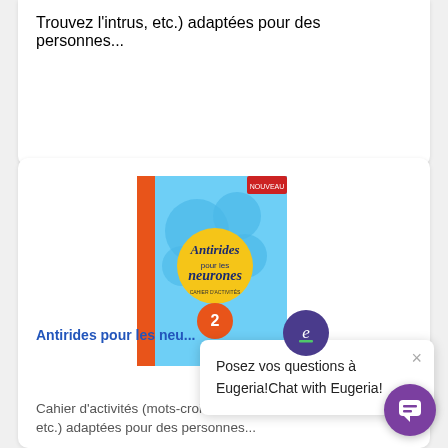Trouvez l'intrus, etc.) adaptées pour des personnes...
[Figure (illustration): Book cover of 'Antirides pour les neurones' volume 2, with blue background featuring brain-like circles, orange spine, and yellow central circle with the title in cursive font.]
Antirides pour les neu...
Cahier d'activités (mots-croisés, mots cachés, Trouvez l'intrus, etc.) adaptées pour des personnes...
Posez vos questions à Eugeria!Chat with Eugeria!